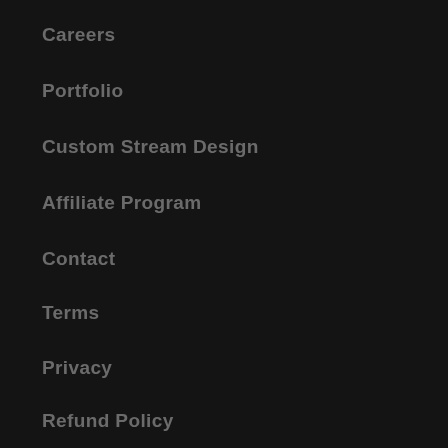Careers
Portfolio
Custom Stream Design
Affiliate Program
Contact
Terms
Privacy
Refund Policy